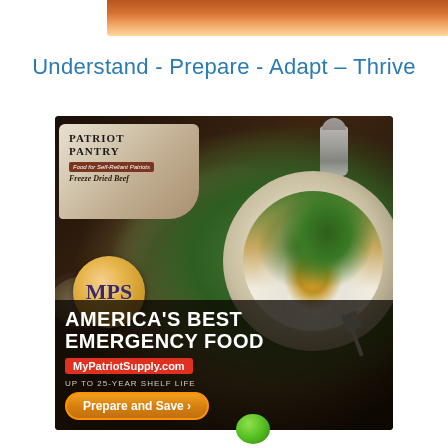[Figure (photo): Top partial image strip showing warm orange/amber tones, likely a sunset or flame background, cropped at top of page]
Understand - Prepare - Adapt – Thrive
[Figure (photo): Advertisement for My Patriot Supply / Patriot Pantry emergency food. Shows a bowl of rice with beef, broccoli, and vegetables, a package of Freeze Dried Beef, MPS logo circle, text 'America's Best Emergency Food', MyPatriotSupply.com website, 'UP TO 25-YEAR SHELF LIFE' and 'Prepare and Save' call-to-action button. Also shows a wooden bowl of ground beef, salt and pepper shakers, and a fork.]
[Figure (other): Green circle/dot partially visible at bottom center of page]